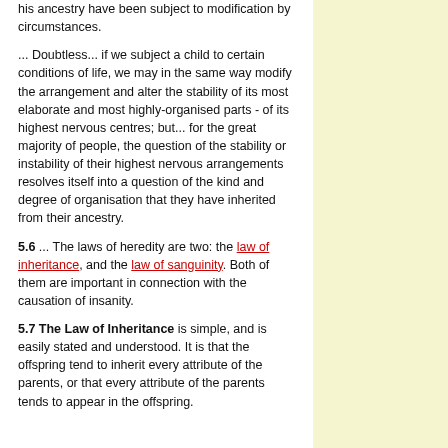his ancestry have been subject to modification by circumstances.
... Doubtless... if we subject a child to certain conditions of life, we may in the same way modify the arrangement and alter the stability of its most elaborate and most highly-organised parts - of its highest nervous centres; but... for the great majority of people, the question of the stability or instability of their highest nervous arrangements resolves itself into a question of the kind and degree of organisation that they have inherited from their ancestry.
5.6 ... The laws of heredity are two: the law of inheritance, and the law of sanguinity. Both of them are important in connection with the causation of insanity.
5.7 The Law of Inheritance is simple, and is easily stated and understood. It is that the offspring tend to inherit every attribute of the parents, or that every attribute of the parents tends to appear in the offspring.